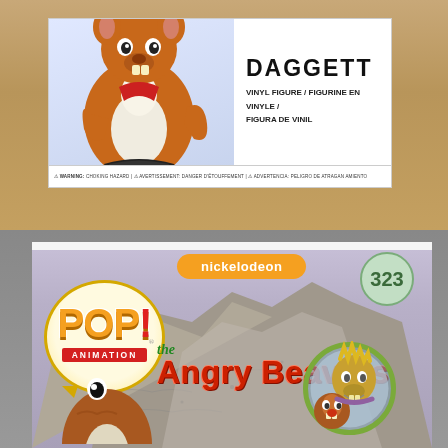[Figure (photo): Photo of two Funko Pop items on wooden and gray shelves. Top: a Daggett (The Angry Beavers) Funko Pop box showing the orange beaver character and the label reading DAGGETT VINYL FIGURE / FIGURINE EN VINYLE / FIGURA DE VINIL with warning text. Bottom: The Angry Beavers Funko Pop Animation #323 box front showing the Nickelodeon logo, POP! Animation logo in a yellow circle speech bubble, 'The Angry Beavers' title in red lettering, a circular logo badge showing both beaver characters, and gray rocky background art. A partial brown beaver figure is visible at the bottom of the frame.]